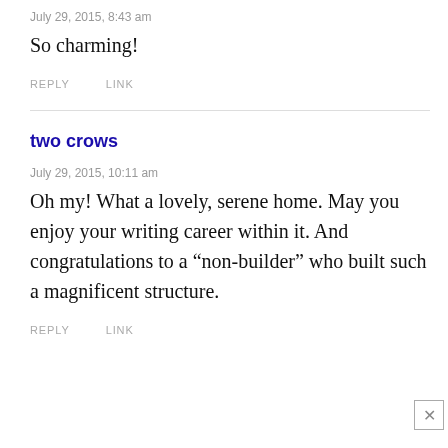July 29, 2015, 8:43 am
So charming!
REPLY   LINK
two crows
July 29, 2015, 10:11 am
Oh my! What a lovely, serene home. May you enjoy your writing career within it. And congratulations to a “non-builder” who built such a magnificent structure.
REPLY   LINK